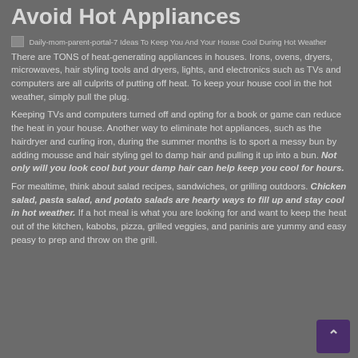Avoid Hot Appliances
[Figure (photo): Placeholder image thumbnail with alt text: Daily-mom-parent-portal-7 Ideas To Keep You And Your House Cool During Hot Weather]
There are TONS of heat-generating appliances in houses. Irons, ovens, dryers, microwaves, hair styling tools and dryers, lights, and electronics such as TVs and computers are all culprits of putting off heat. To keep your house cool in the hot weather, simply pull the plug.
Keeping TVs and computers turned off and opting for a book or game can reduce the heat in your house. Another way to eliminate hot appliances, such as the hairdryer and curling iron, during the summer months is to sport a messy bun by adding mousse and hair styling gel to damp hair and pulling it up into a bun. Not only will you look cool but your damp hair can help keep you cool for hours.
For mealtime, think about salad recipes, sandwiches, or grilling outdoors. Chicken salad, pasta salad, and potato salads are hearty ways to fill up and stay cool in hot weather. If a hot meal is what you are looking for and want to keep the heat out of the kitchen, kabobs, pizza, grilled veggies, and paninis are yummy and easy peasy to prep and throw on the grill.